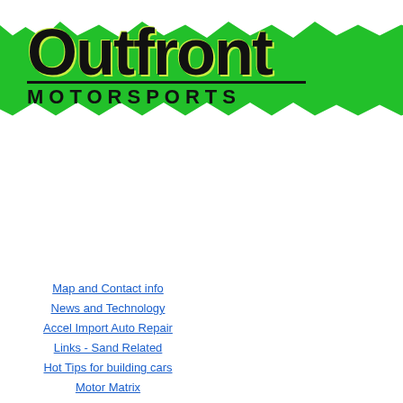[Figure (logo): Outfront Motorsports logo — green paint-brush banner background with black bold text 'Outfront' and 'MOTORSPORTS' below it]
Map and Contact info
News and Technology
Accel Import Auto Repair
Links - Sand Related
Hot Tips for building cars
Motor Matrix
For the ultimate sandcar setup this is what you want, a lighter flywheel. This